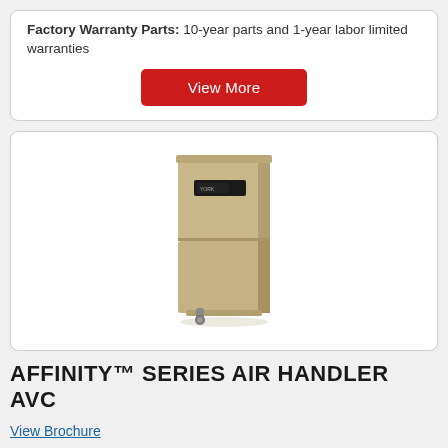Factory Warranty Parts: 10-year parts and 1-year labor limited warranties
View More
[Figure (photo): York Affinity Series Air Handler AVC unit — a tall tan/beige vertical air handler cabinet with a small control panel on the upper section and a pipe fitting at the bottom.]
AFFINITY™ SERIES AIR HANDLER AVC
View Brochure